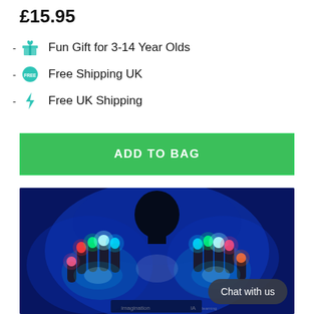£15.95
Fun Gift for 3-14 Year Olds
Free Shipping UK
Free UK Shipping
ADD TO BAG
[Figure (photo): Person holding up both hands wearing LED light-up gloves glowing in multiple colors (pink, green, teal, red) against a dark blue background. A 'Chat with us' button overlay is visible in the bottom right corner.]